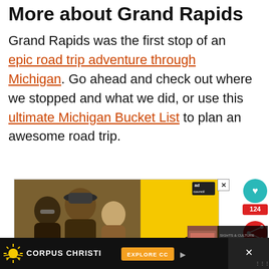More about Grand Rapids
Grand Rapids was the first stop of an epic road trip adventure through Michigan. Go ahead and check out where we stopped and what we did, or use this ultimate Michigan Bucket List to plan an awesome road trip.
[Figure (screenshot): Advertisement banner showing people at an outdoor event with yellow background. Text reads 'Getting back' and 'IT'S UP TO YOU COVID-19 VACCINATION'. Ad Council badge in top right corner. Close button (X) at top right.]
[Figure (infographic): Sidebar social engagement widgets: teal heart/like button, red share count showing 124, red share button with network icon.]
[Figure (screenshot): Related article thumbnail: 'Exploring The Sioux City...' with small photo on dark background.]
[Figure (screenshot): Bottom advertisement bar for Corpus Christi with sun logo, 'EXPLORE CC' orange button, and close controls on dark background.]